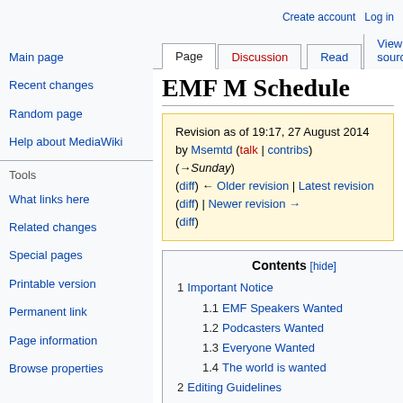Create account  Log in
EMF M Schedule
Revision as of 19:17, 27 August 2014 by Msemtd (talk | contribs) (→Sunday) (diff) ← Older revision | Latest revision (diff) | Newer revision → (diff)
Contents [hide]
1  Important Notice
1.1  EMF Speakers Wanted
1.2  Podcasters Wanted
1.3  Everyone Wanted
1.4  The world is wanted
2  Editing Guidelines
3  Schedule
Main page
Recent changes
Random page
Help about MediaWiki
What links here
Related changes
Special pages
Printable version
Permanent link
Page information
Browse properties